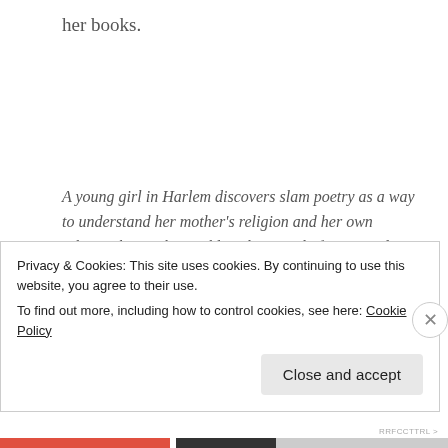her books.
A young girl in Harlem discovers slam poetry as a way to understand her mother's religion and her own relationship to the world. Debut novel of renowned slam poet Elizabeth Acevedo.
Xiomara Batista feels unheard and unable to hide in her Harlem neighborhood. Ever since her body grew into curves, she has learned to let her fists and her fierceness do the talking.
Privacy & Cookies: This site uses cookies. By continuing to use this website, you agree to their use.
To find out more, including how to control cookies, see here: Cookie Policy